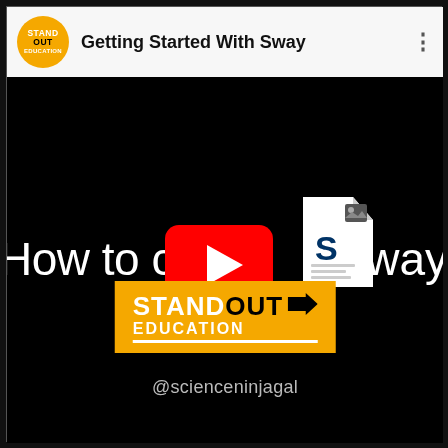[Figure (screenshot): YouTube video thumbnail screenshot showing a video titled 'Getting Started With Sway' from the Standout Education channel. The thumbnail has a black background with white text reading 'How to creat...' on the left and 'Sway' on the right, a Microsoft Sway logo icon, a large red YouTube play button in the center, a Standout Education orange banner logo in the lower center, and '@scienceninjagal' text below the banner. The top bar shows the channel's circular orange logo and the video title.]